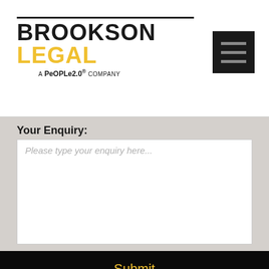[Figure (logo): Brookson Legal logo with 'BROOKSON' in black bold text and 'LEGAL' in yellow bold text, with 'a PEOPLE2.0 COMPANY' tagline below]
[Figure (other): Hamburger menu button - dark square with three horizontal lines]
Your Enquiry:
Please type your enquiry here...
Submit